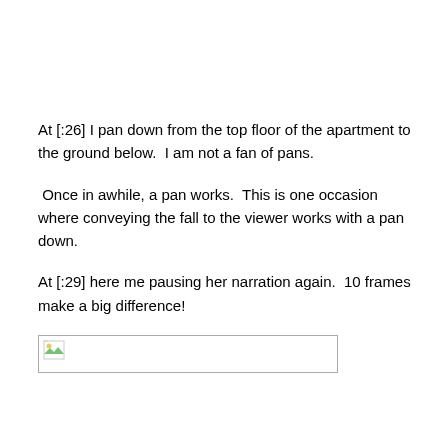At [:26] I pan down from the top floor of the apartment to the ground below.  I am not a fan of pans.
Once in awhile, a pan works.  This is one occasion where conveying the fall to the viewer works with a pan down.
At [:29] here me pausing her narration again.  10 frames make a big difference!
[Figure (photo): Broken image placeholder — a rectangular box with a small broken-image icon in the top-left corner]